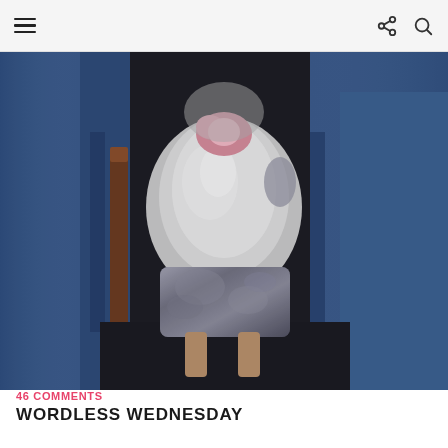≡  [share] [search]
[Figure (photo): A child in a panda costume (white fluffy body, gray metallic shorts, pink ears visible at top) standing between two adults wearing blue denim jeans. The photo is taken indoors, low angle showing mostly the torsos and legs.]
46 COMMENTS
WORDLESS WEDNESDAY